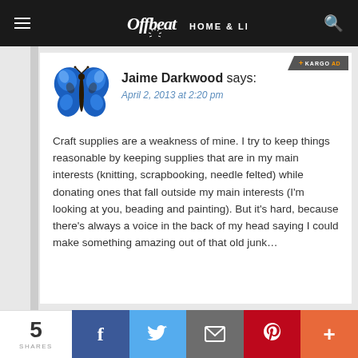Offbeat HOME & LIFE
[Figure (illustration): Blue morpho butterfly avatar]
Jaime Darkwood says:
April 2, 2013 at 2:20 pm
Craft supplies are a weakness of mine. I try to keep things reasonable by keeping supplies that are in my main interests (knitting, scrapbooking, needle felted) while donating ones that fall outside my main interests (I'm looking at you, beading and painting). But it's hard, because there's always a voice in the back of my head saying I could make something amazing out of that old junk…
5 SHARES | Facebook | Twitter | Email | Pinterest | More